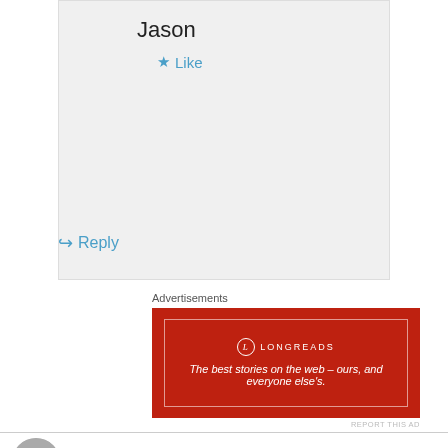Jason
★ Like
↪ Reply
Advertisements
[Figure (other): Longreads advertisement banner: red background with white border, Longreads logo, text 'The best stories on the web – ours, and everyone else's.']
REPORT THIS AD
Pedro on August 13, 2018 at 3:44 pm
Hi Jason! I stumbled onto your iphone battery rip-appart. I'm trying to find a way to place a 5000 mAh battery outside of the iPhone 5s case
Advertisements
[Figure (other): Bloomingdales advertisement banner with logo, 'View Today's Top Deals!' text, woman with hat image, and 'SHOP NOW >' button.]
REPORT THIS AD